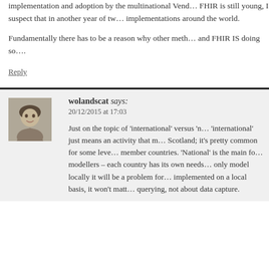implementation and adoption by the multinational Vend… FHIR is still young, I suspect that in another year of tw… implementations around the world.
Fundamentally there has to be a reason why other meth… and FHIR IS doing so….
Reply
wolandscat says: 20/12/2015 at 17:03
Just on the topic of 'international' versus 'n… 'international' just means an activity that m… Scotland; it's pretty common for some leve… member countries. 'National' is the main fo… modellers – each country has its own needs… only model locally it will be a problem for… implemented on a local basis, it won't matt… querying, not about data capture.